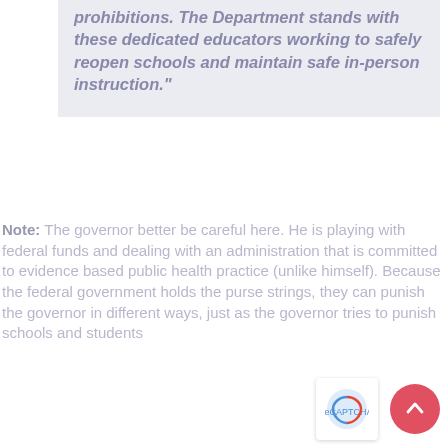prohibitions. The Department stands with these dedicated educators working to safely reopen schools and maintain safe in-person instruction."
Note: The governor better be careful here. He is playing with federal funds and dealing with an administration that is committed to evidence based public health practice (unlike himself). Because the federal government holds the purse strings, they can punish the governor in different ways, just as the governor tries to punish schools and students